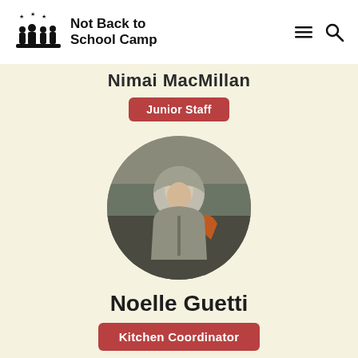Not Back to School Camp
Nimai MacMillan
Junior Staff
[Figure (photo): Circular profile photo of a young person wearing a grey hoodie and orange jacket, outdoors among trees]
Noelle Guetti
Kitchen Coordinator
[Figure (photo): Circular profile photo partially visible at the bottom of the page, showing a person with light hair in an outdoor/nighttime setting]